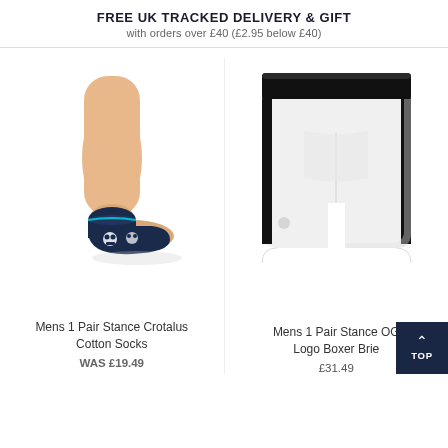FREE UK TRACKED DELIVERY & GIFT
with orders over £40 (£2.95 below £40)
[Figure (photo): Mannequin leg wearing a navy blue no-show sock with white skull pattern (Stance Crotalus Cotton Socks)]
Mens 1 Pair Stance Crotalus Cotton Socks
WAS £19.49
[Figure (photo): White Stance OG Logo Boxer Briefs with black waistband and black side stripe]
Mens 1 Pair Stance OG Logo Boxer Brie
£31.49